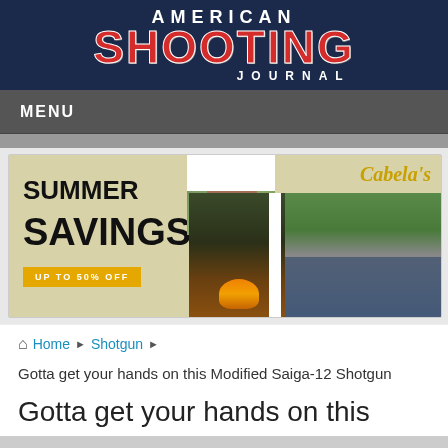AMERICAN SHOOTING JOURNAL
MENU
[Figure (photo): Cabela's Summer Savings advertisement banner showing 'SUMMER SAVINGS - UP TO 50% OFF' with photos of a woman, a camping scene with fire, and people fishing on a boat]
Home ▶ Shotgun ▶
Gotta get your hands on this Modified Saiga-12 Shotgun
Gotta get your hands on this